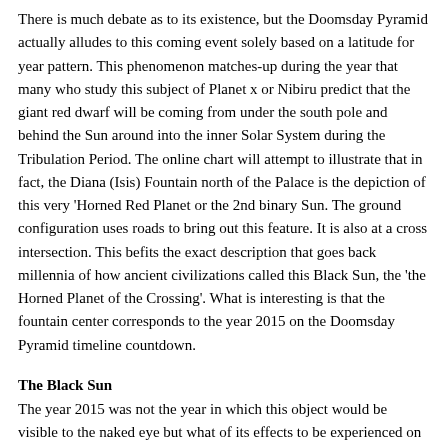There is much debate as to its existence, but the Doomsday Pyramid actually alludes to this coming event solely based on a latitude for year pattern. This phenomenon matches-up during the year that many who study this subject of Planet x or Nibiru predict that the giant red dwarf will be coming from under the south pole and behind the Sun around into the inner Solar System during the Tribulation Period. The online chart will attempt to illustrate that in fact, the Diana (Isis) Fountain north of the Palace is the depiction of this very 'Horned Red Planet or the 2nd binary Sun. The ground configuration uses roads to bring out this feature. It is also at a cross intersection. This befits the exact description that goes back millennia of how ancient civilizations called this Black Sun, the 'the Horned Planet of the Crossing'. What is interesting is that the fountain center corresponds to the year 2015 on the Doomsday Pyramid timeline countdown.
The Black Sun
The year 2015 was not the year in which this object would be visible to the naked eye but what of its effects to be experienced on Earth leading up to it? This will remain to be seen, literally. However, the uptake in the frequency and intensity of volcanoes and earthquakes are off the charts as they say. Many who have studies this phenomenon of Planet X have provided some models of its coming trajectory. If in fact 2022 then is the